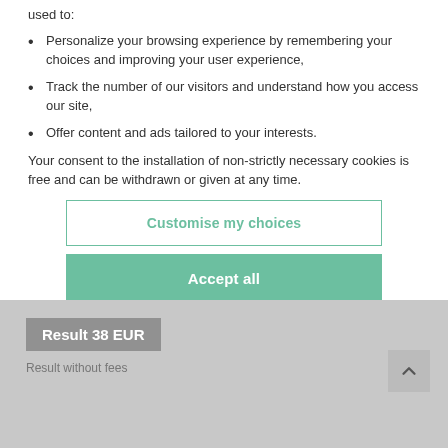used to:
Personalize your browsing experience by remembering your choices and improving your user experience,
Track the number of our visitors and understand how you access our site,
Offer content and ads tailored to your interests.
Your consent to the installation of non-strictly necessary cookies is free and can be withdrawn or given at any time.
Customise my choices
Accept all
Result 38 EUR
Result without fees